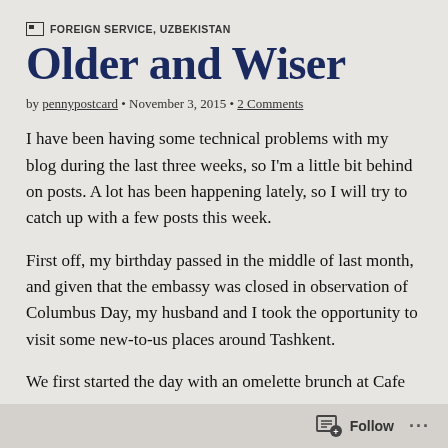FOREIGN SERVICE, UZBEKISTAN
Older and Wiser
by pennypostcard • November 3, 2015 • 2 Comments
I have been having some technical problems with my blog during the last three weeks, so I'm a little bit behind on posts. A lot has been happening lately, so I will try to catch up with a few posts this week.
First off, my birthday passed in the middle of last month, and given that the embassy was closed in observation of Columbus Day, my husband and I took the opportunity to visit some new-to-us places around Tashkent.
We first started the day with an omelette brunch at Cafe